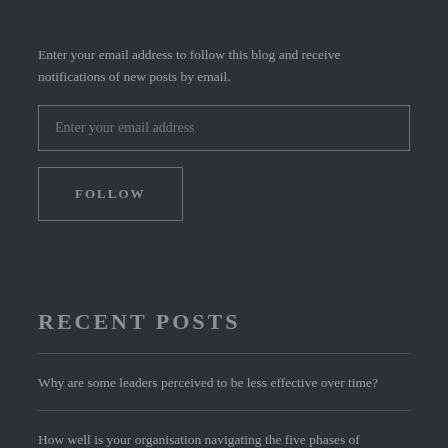Enter your email address to follow this blog and receive notifications of new posts by email.
Enter your email address
FOLLOW
RECENT POSTS
Why are some leaders perceived to be less effective over time?
How well is your organisation navigating the five phases of